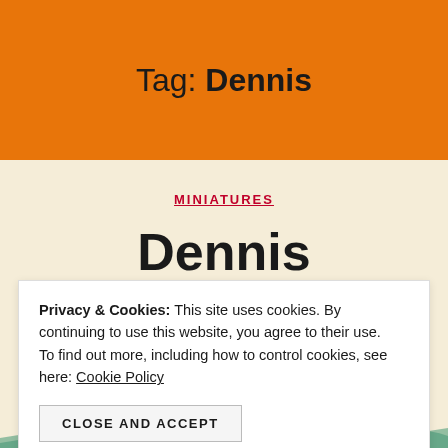Tag: Dennis
MINIATURES
Dennis
No Comments
Privacy & Cookies: This site uses cookies. By continuing to use this website, you agree to their use. To find out more, including how to control cookies, see here: Cookie Policy
CLOSE AND ACCEPT